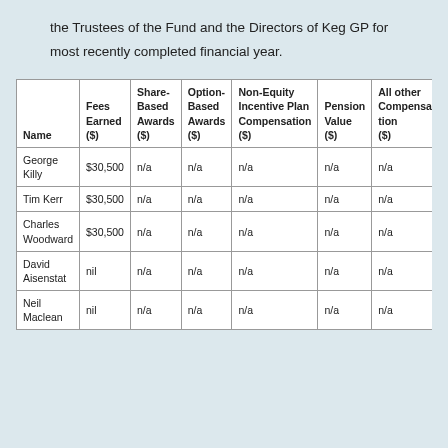the Trustees of the Fund and the Directors of Keg GP for most recently completed financial year.
| Name | Fees Earned ($) | Share-Based Awards ($) | Option-Based Awards ($) | Non-Equity Incentive Plan Compensation ($) | Pension Value ($) | All other Compensation ($) |
| --- | --- | --- | --- | --- | --- | --- |
| George Killy | $30,500 | n/a | n/a | n/a | n/a | n/a |
| Tim Kerr | $30,500 | n/a | n/a | n/a | n/a | n/a |
| Charles Woodward | $30,500 | n/a | n/a | n/a | n/a | n/a |
| David Aisenstat | nil | n/a | n/a | n/a | n/a | n/a |
| Neil Maclean | nil | n/a | n/a | n/a | n/a | n/a |